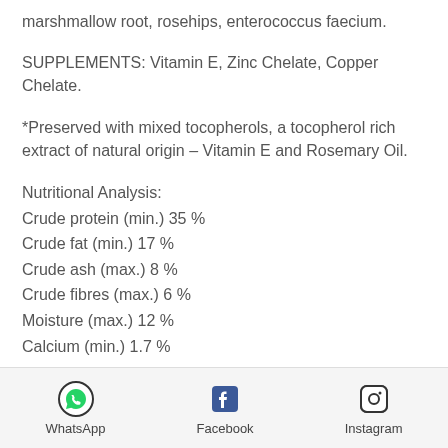marshmallow root, rosehips, enterococcus faecium.
SUPPLEMENTS: Vitamin E, Zinc Chelate, Copper Chelate.
*Preserved with mixed tocopherols, a tocopherol rich extract of natural origin – Vitamin E and Rosemary Oil.
Nutritional Analysis:
Crude protein (min.) 35 %
Crude fat (min.) 17 %
Crude ash (max.) 8 %
Crude fibres (max.) 6 %
Moisture (max.) 12 %
Calcium (min.) 1.7 %
WhatsApp   Facebook   Instagram